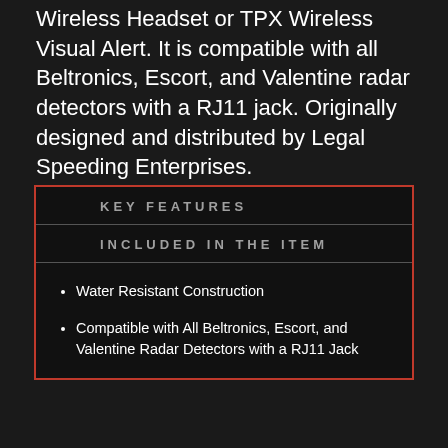Wireless Headset or TPX Wireless Visual Alert. It is compatible with all Beltronics, Escort, and Valentine radar detectors with a RJ11 jack. Originally designed and distributed by Legal Speeding Enterprises.
KEY FEATURES
INCLUDED IN THE ITEM
Water Resistant Construction
Compatible with All Beltronics, Escort, and Valentine Radar Detectors with a RJ11 Jack